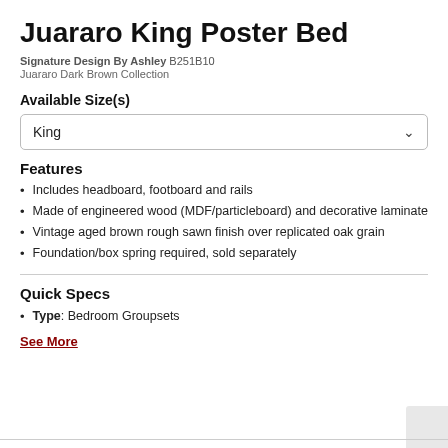Juararo King Poster Bed
Signature Design By Ashley B251B10
Juararo Dark Brown Collection
Available Size(s)
King
Features
Includes headboard, footboard and rails
Made of engineered wood (MDF/particleboard) and decorative laminate
Vintage aged brown rough sawn finish over replicated oak grain
Foundation/box spring required, sold separately
Quick Specs
Type: Bedroom Groupsets
See More